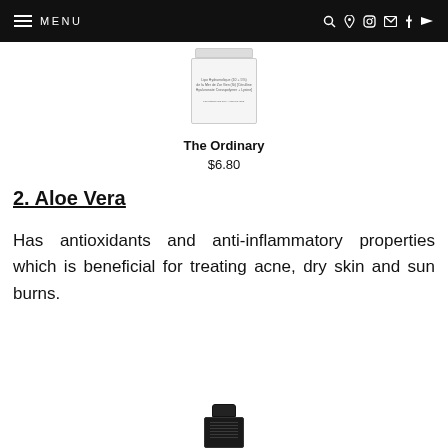MENU
[Figure (photo): White jar product image — The Ordinary skincare product]
The Ordinary
$6.80
2. Aloe Vera
Has antioxidants and anti-inflammatory properties which is beneficial for treating acne, dry skin and sun burns.
[Figure (photo): Dark bottle product image at bottom of page]